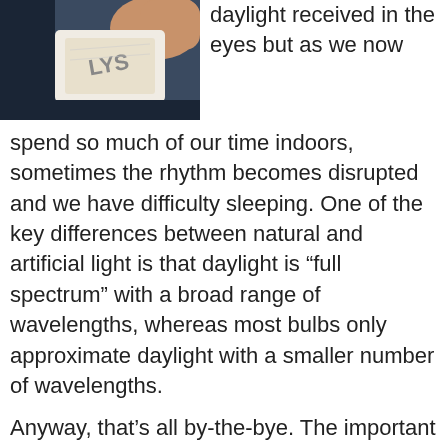[Figure (photo): A hand holding a small white device with 'LYS' printed on it, shown against a dark smartphone screen background.]
daylight received in the eyes but as we now spend so much of our time indoors, sometimes the rhythm becomes disrupted and we have difficulty sleeping. One of the key differences between natural and artificial light is that daylight is “full spectrum” with a broad range of wavelengths, whereas most bulbs only approximate daylight with a smaller number of wavelengths.
Anyway, that’s all by-the-bye. The important thing is that the Lys tracker can measure the light falling on it during the day, and provide this information to you via an app, showing you the quality, intensity and duration of the light. This guides you to help get the “right light” to reinforce the circadian rhythms and get a good night’s sleep.
Just in case you are wondering, Lys means light in